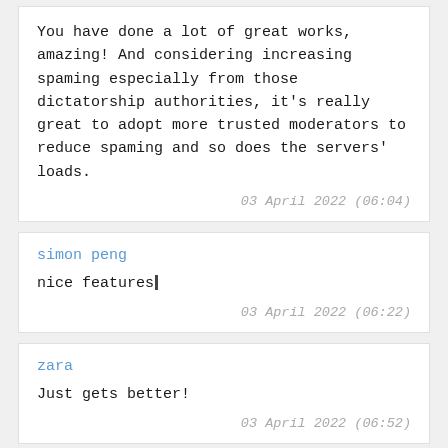You have done a lot of great works, amazing! And considering increasing spaming especially from those dictatorship authorities, it's really great to adopt more trusted moderators to reduce spaming and so does the servers' loads.
03 April 2022 (06:04)
simon peng
nice features|
03 April 2022 (06:22)
zara
Just gets better!
03 April 2022 (06:52)
zara